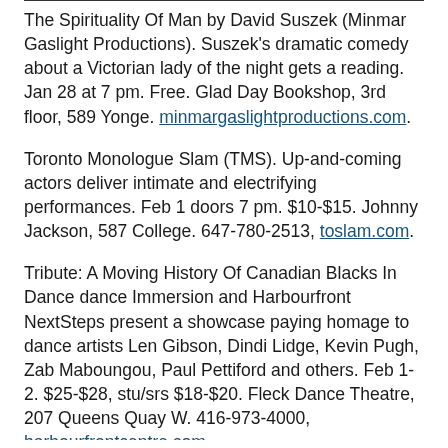The Spirituality Of Man by David Suszek (Minmar Gaslight Productions). Suszek's dramatic comedy about a Victorian lady of the night gets a reading. Jan 28 at 7 pm. Free. Glad Day Bookshop, 3rd floor, 589 Yonge. minmargaslightproductions.com.
Toronto Monologue Slam (TMS). Up-and-coming actors deliver intimate and electrifying performances. Feb 1 doors 7 pm. $10-$15. Johnny Jackson, 587 College. 647-780-2513, toslam.com.
Tribute: A Moving History Of Canadian Blacks In Dance dance Immersion and Harbourfront NextSteps present a showcase paying homage to dance artists Len Gibson, Dindi Lidge, Kevin Pugh, Zab Maboungou, Paul Pettiford and others. Feb 1-2. $25-$28, stu/srs $18-$20. Fleck Dance Theatre, 207 Queens Quay W. 416-973-4000, harbourfrontcentre.com.